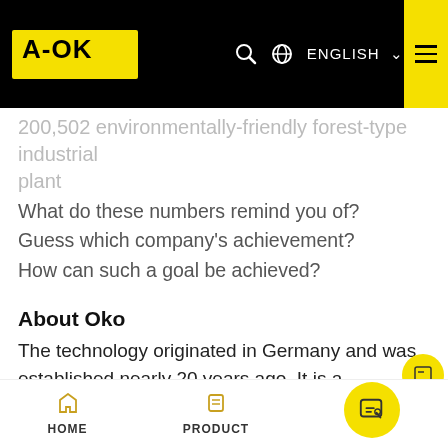A-OK | AI Motors Specialist | ENGLISH
200,502 environmentally-friendly forest-type industrial plant
What do these numbers remind you of?
Guess which company's achievement?
How can such a goal be achieved?
About Oko
The technology originated in Germany and was established nearly 20 years ago. It is a professional manufacturer engaged in the R & D and manufacturing of door and window motors earlier in China. Aoweiweiye has a research and development center in Stuttgart. The factory is located in the Sanhe Economic Development Zone, Huiyang, Huizhou, Guangdong. Based on the most developed
HOME | PRODUCT